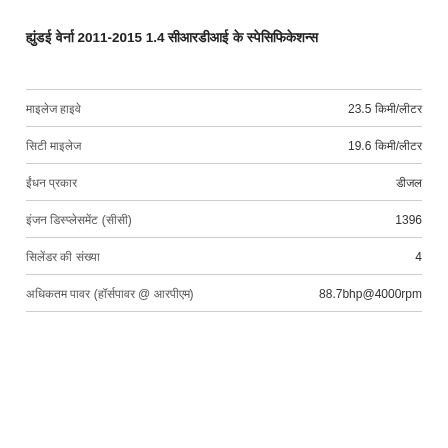ह्युंडई वेर्ना 2011-2015 1.4 सीआरडीआई के स्पेसिफिकेशन्स
| विशेषता | मान |
| --- | --- |
| माइलेज हाइवे | 23.5 किमी/लीटर |
| सिटी माइलेज | 19.6 किमी/लीटर |
| ईंधन प्रकार | डीजल |
| इंजन डिस्प्लेसमेंट (सीसी) | 1396 |
| सिलेंडर की संख्या | 4 |
| अधिकतम पावर (हॉर्सपावर @ आरपीएम) | 88.7bhp@4000rpm |